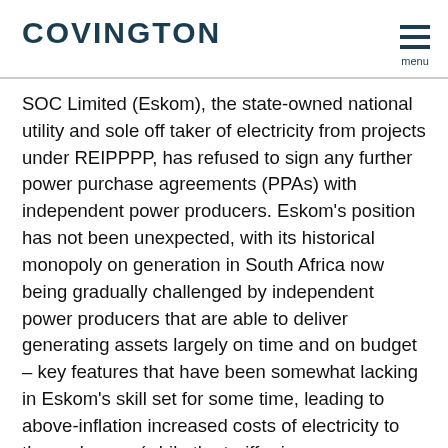COVINGTON
SOC Limited (Eskom), the state-owned national utility and sole off taker of electricity from projects under REIPPPP, has refused to sign any further power purchase agreements (PPAs) with independent power producers. Eskom’s position has not been unexpected, with its historical monopoly on generation in South Africa now being gradually challenged by independent power producers that are able to deliver generating assets largely on time and on budget – key features that have been somewhat lacking in Eskom’s skill set for some time, leading to above-inflation increased costs of electricity to the end users (while the tariff prices